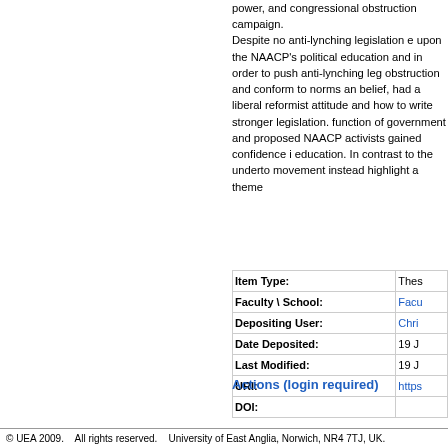power, and congressional obstruction campaign. Despite no anti-lynching legislation e upon the NAACP's political education and in order to push anti-lynching leg obstruction and conform to norms an belief, had a liberal reformist attitude and how to write stronger legislation. function of government and proposed NAACP activists gained confidence i education. In contrast to the underto movement instead highlight a theme
| Field | Value |
| --- | --- |
| Item Type: | Thes |
| Faculty \ School: | Facu |
| Depositing User: | Chri |
| Date Deposited: | 19 J |
| Last Modified: | 19 J |
| URI: | https |
| DOI: |  |
Actions (login required)
© UEA 2009.    All rights reserved.    University of East Anglia, Norwich, NR4 7TJ, UK.